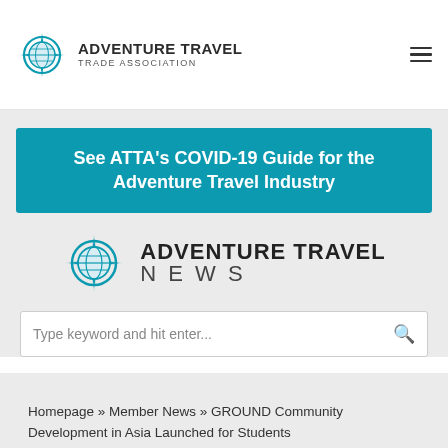ADVENTURE TRAVEL TRADE ASSOCIATION
See ATTA's COVID-19 Guide for the Adventure Travel Industry
[Figure (logo): Adventure Travel News logo with globe compass icon and bold text ADVENTURE TRAVEL NEWS]
Type keyword and hit enter...
Homepage » Member News » GROUND Community Development in Asia Launched for Students